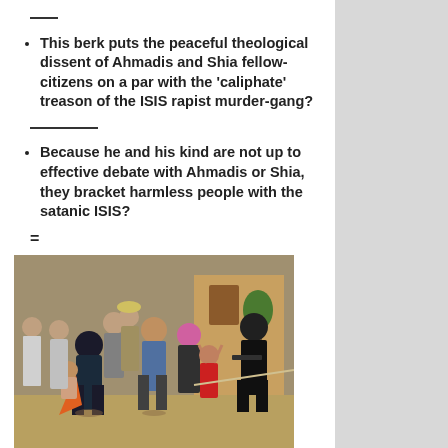—
This berk puts the peaceful theological dissent of Ahmadis and Shia fellow-citizens on a par with the 'caliphate' treason of the ISIS rapist murder-gang?
——————
Because he and his kind are not up to effective debate with Ahmadis or Shia, they bracket harmless people with the satanic ISIS?
=
[Figure (photo): A group of people including women in hijabs, children, and a man in black military gear with a weapon, walking outdoors in front of a building.]
Shia villagers, refugees in their own country